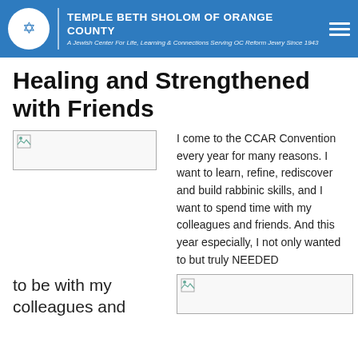TEMPLE BETH SHOLOM OF ORANGE COUNTY — A Jewish Center For Life, Learning & Connections Serving OC Reform Jewry Since 1943
Healing and Strengthened with Friends
[Figure (photo): Broken image placeholder (wide horizontal image)]
I come to the CCAR Convention every year for many reasons. I want to learn, refine, rediscover and build rabbinic skills, and I want to spend time with my colleagues and friends. And this year especially, I not only wanted to but truly NEEDED
to be with my colleagues and
[Figure (photo): Broken image placeholder (wide horizontal image, bottom right)]